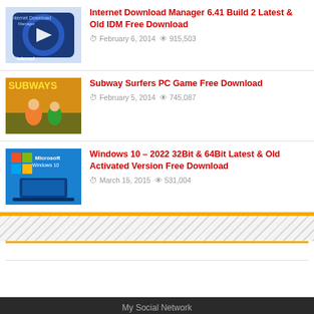Internet Download Manager 6.41 Build 2 Latest & Old IDM Free Download | February 6, 2014 | 915,503
Subway Surfers PC Game Free Download | February 5, 2014 | 745,087
Windows 10 – 2022 32Bit & 64Bit Latest & Old Activated Version Free Download | March 15, 2015 | 531,004
My Social Network